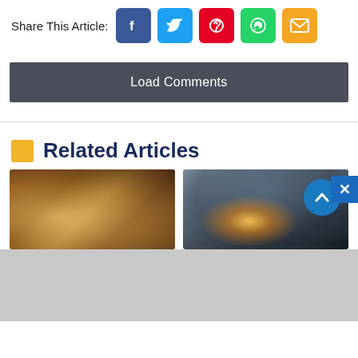Share This Article:
[Figure (infographic): Social share buttons: Facebook (blue), Twitter (light blue), Pinterest (red), WhatsApp (green), Email (orange)]
Load Comments
Related Articles
[Figure (photo): An animal resting on straw/hay, warm brown tones]
[Figure (photo): A person holding a sparkler with bright light against dark background, with a circular scroll-up button overlay]